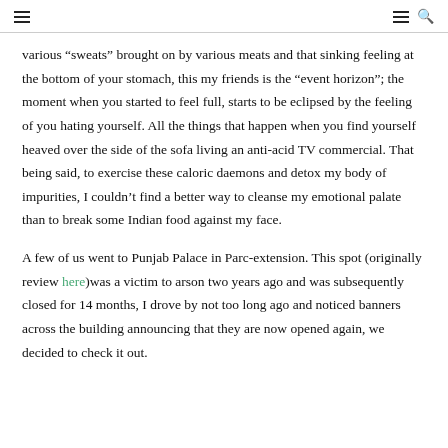≡  ≡ 🔍
various “sweats” brought on by various meats and that sinking feeling at the bottom of your stomach, this my friends is the “event horizon”; the moment when you started to feel full, starts to be eclipsed by the feeling of you hating yourself. All the things that happen when you find yourself heaved over the side of the sofa living an anti-acid TV commercial. That being said, to exercise these caloric daemons and detox my body of impurities, I couldn’t find a better way to cleanse my emotional palate than to break some Indian food against my face.
A few of us went to Punjab Palace in Parc-extension. This spot (originally review here)was a victim to arson two years ago and was subsequently closed for 14 months, I drove by not too long ago and noticed banners across the building announcing that they are now opened again, we decided to check it out.